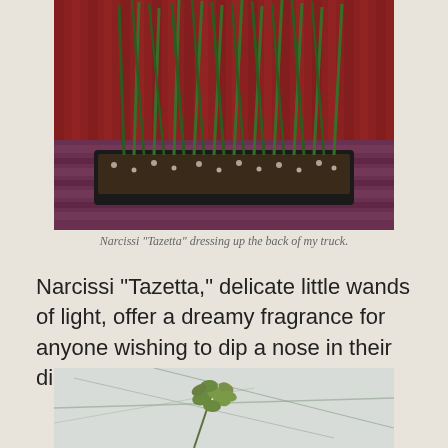[Figure (photo): Black rectangular tray with narcissi bulbs planted in dark soil with perlite, tall green shoots growing upward, set against a red corrugated metal background on a painted purple/red wooden surface.]
Narcissi “Tazetta” dressing up the back of my truck.
Narcissi “Tazetta,” delicate little wands of light, offer a dreamy fragrance for anyone wishing to dip a nose in their direction.
[Figure (photo): Close-up of a small green plant with round oval leaves grouped in clusters, with thin bare branches visible in the background against a light grey/white sky.]